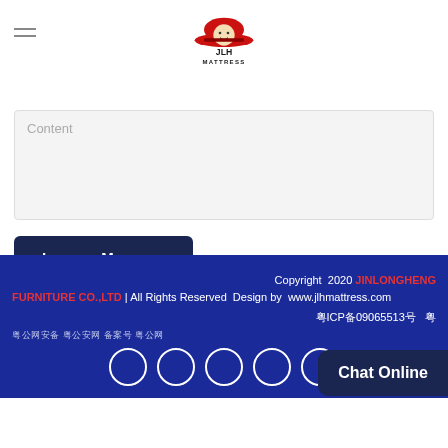[Figure (logo): JLH Mattress logo with red cartoon figure on top and JLH MATTRESS text below]
Content
Leave a Message
Copyright 2020 JINLONGHENG FURNITURE CO.,LTD | All Rights Reserved Design by www.jlhmattress.com 粤ICP备09065513号 粤 粤公网安备 粤公安网 备案号 Chat Online